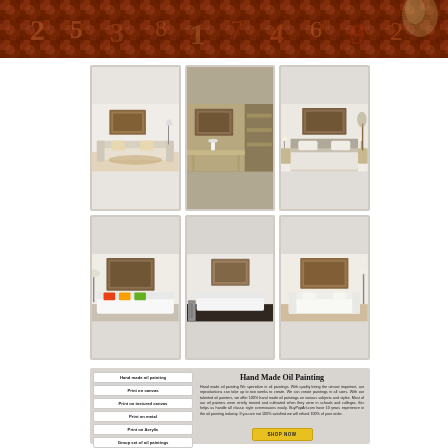[Figure (photo): Top banner with dark red/brown ornate pattern background]
[Figure (photo): Gallery grid of 6 room mockup photos showing oil painting in various interior settings: living room with sofa, hotel room, bedroom, modern living room with colorful cushions, minimalist room with white sofa, and beige living room]
Hand made oil painting
Print on canvas
Print on textured canvas
Print on metal
Print on Acrylic
Group set of oil paintings
Group set of prints on canvas
Group set of textured prints
Hand Made Oil Painting
Hand made oil painting We specialize in oil paintings. With quality being the utmost important, our reproductions can take up to two weeks to create. We can create paintings in all sizes. With our talented oil painters, we offer 100% hand made oil paintings on various subjects and styles. Most of our oil painters were strictly trained and cultivated when they were in schools and colleges, this helps us handle all classic style commissions easily. BuyPopArt.com have 10 years experience in the oil painting industry. If you are not 100% satisfied we will refund 100% of your order.
SHOP NOW